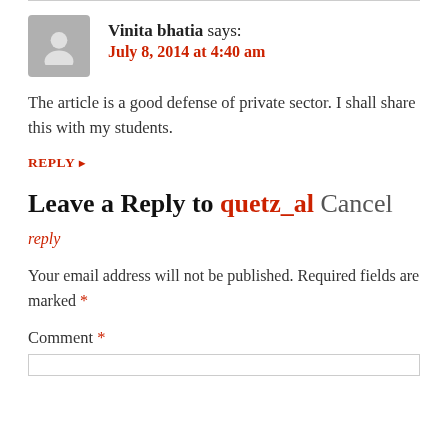Vinita bhatia says: July 8, 2014 at 4:40 am
The article is a good defense of private sector. I shall share this with my students.
REPLY ▸
Leave a Reply to quetz_al Cancel reply
Your email address will not be published. Required fields are marked *
Comment *